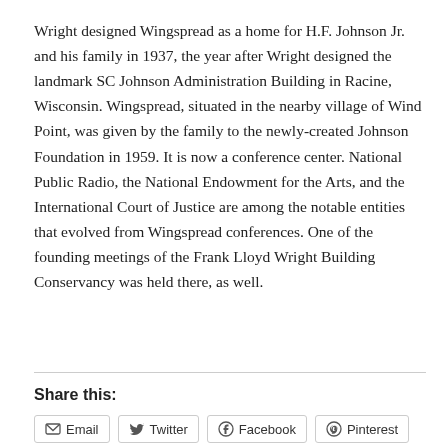Wright designed Wingspread as a home for H.F. Johnson Jr. and his family in 1937, the year after Wright designed the landmark SC Johnson Administration Building in Racine, Wisconsin. Wingspread, situated in the nearby village of Wind Point, was given by the family to the newly-created Johnson Foundation in 1959. It is now a conference center. National Public Radio, the National Endowment for the Arts, and the International Court of Justice are among the notable entities that evolved from Wingspread conferences. One of the founding meetings of the Frank Lloyd Wright Building Conservancy was held there, as well.
Share this:
Email
Twitter
Facebook
Pinterest